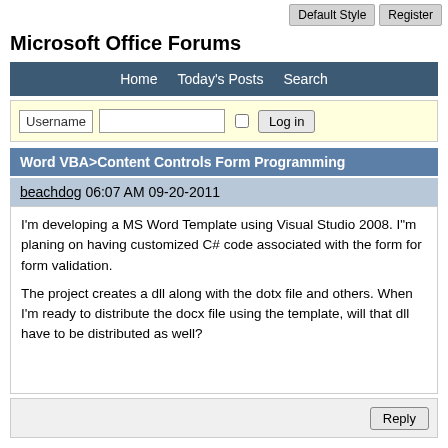Default Style   Register
Microsoft Office Forums
Home   Today's Posts   Search
Username  [input]  [checkbox]  Log in
Word VBA>Content Controls Form Programming
beachdog 06:07 AM 09-20-2011
I'm developing a MS Word Template using Visual Studio 2008. I"m planing on having customized C# code associated with the form for form validation.

The project creates a dll along with the dotx file and others. When I'm ready to distribute the docx file using the template, will that dll have to be distributed as well?
Reply